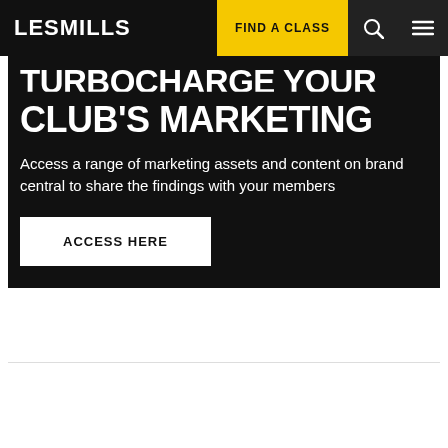LES MILLS | FIND A CLASS
TURBOCHARGE YOUR CLUB'S MARKETING
Access a range of marketing assets and content on brand central to share the findings with your members
ACCESS HERE
[Figure (other): Social share bar with email, Facebook, Twitter, and LinkedIn icons inside a rounded pill outline]
Chat now